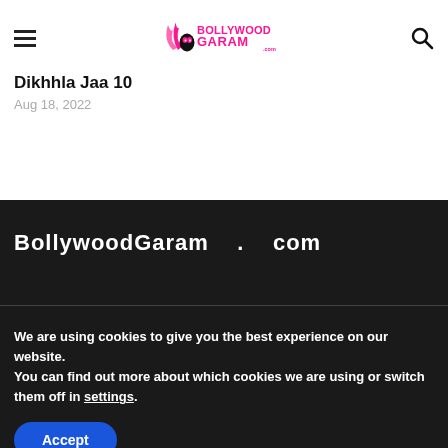BollywoodGaram.com — hamburger menu and search icon
Dikhhla Jaa 10
Aug 18, 2022
[Figure (logo): BollywoodGaram.com logo in pink with flame graphics]
BollywoodGaram . com
We are using cookies to give you the best experience on our website.
You can find out more about which cookies we are using or switch them off in settings.
Accept